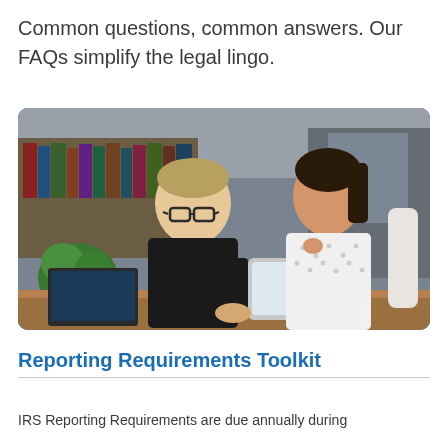Common questions, common answers. Our FAQs simplify the legal lingo.
[Figure (photo): Two professionals, a man in dark shirt wearing glasses and a woman in white blouse, looking at a tablet together at an office desk with bookshelves in the background.]
Reporting Requirements Toolkit
IRS Reporting Requirements are due annually during